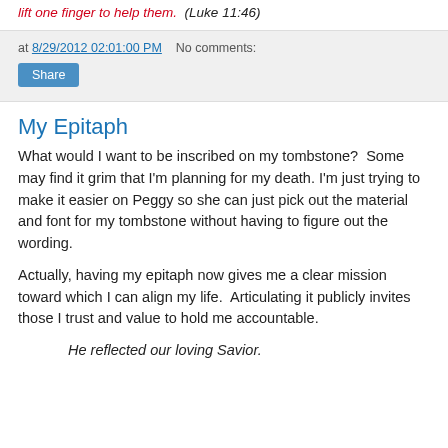lift one finger to help them.  (Luke 11:46)
at 8/29/2012 02:01:00 PM   No comments:
Share
My Epitaph
What would I want to be inscribed on my tombstone?  Some may find it grim that I'm planning for my death. I'm just trying to make it easier on Peggy so she can just pick out the material and font for my tombstone without having to figure out the wording.
Actually, having my epitaph now gives me a clear mission toward which I can align my life.  Articulating it publicly invites those I trust and value to hold me accountable.
He reflected our loving Savior.